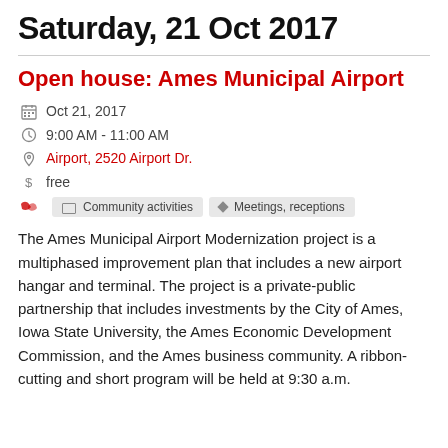Saturday, 21 Oct 2017
Open house: Ames Municipal Airport
Oct 21, 2017
9:00 AM - 11:00 AM
Airport, 2520 Airport Dr.
free
Community activities
Meetings, receptions
The Ames Municipal Airport Modernization project is a multiphased improvement plan that includes a new airport hangar and terminal. The project is a private-public partnership that includes investments by the City of Ames, Iowa State University, the Ames Economic Development Commission, and the Ames business community. A ribbon-cutting and short program will be held at 9:30 a.m.